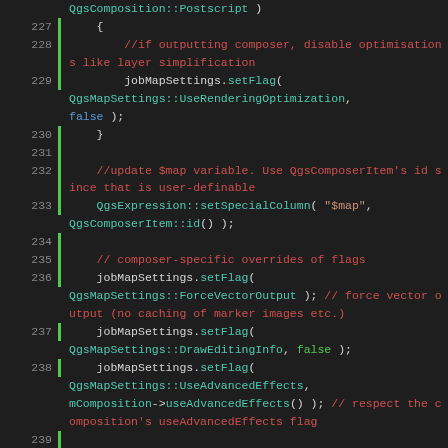[Figure (screenshot): Source code viewer showing C++ code lines 227-245 with syntax highlighting on dark background. Lines show QgsCompositionMap composer method with settings for rendering optimization, vector output, drawing flags, datum transform store, and function signatures.]